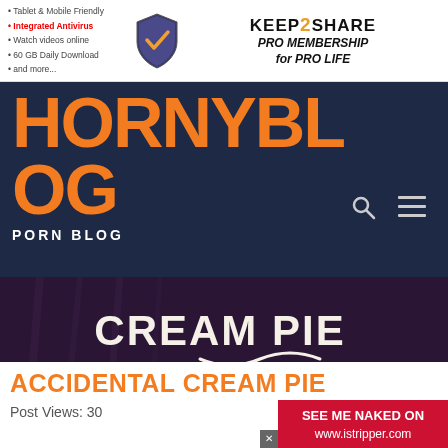[Figure (infographic): Keep2Share Pro Membership advertisement banner with shield icon, antivirus features list, and PRO MEMBERSHIP for PRO LIFE text]
HORNYBLOG
PORN BLOG
[Figure (photo): Movie cover for 'Accidental Cream Pie', directed by Laws, with cast list including Misha Cross, Megan Clara, Victoria Summers, Lynna Nilsson, Ruby Temptations, Luke Hardy, Dru Hermes, Seth Strong, Luke Hotrod & Antonio Black]
ACCIDENTAL CREAM PIE
Post Views: 30
[Figure (infographic): iStripper advertisement overlay in red with text 'SEE ME NAKED ON www.istripper.com']